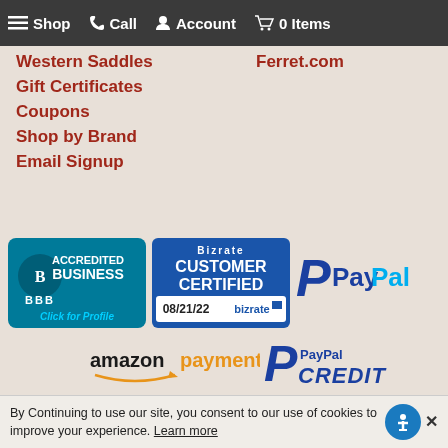Shop  Call  Account  0 Items
Western Saddles
Gift Certificates
Coupons
Shop by Brand
Email Signup
Ferret.com
[Figure (logo): BBB Accredited Business badge - teal background with BBB logo and 'Click for Profile']
[Figure (logo): Bizrate Customer Certified badge with date 08/21/22]
[Figure (logo): PayPal logo in blue and cyan]
[Figure (logo): Amazon Payment logo with orange arrow]
[Figure (logo): PayPal Credit logo in dark blue]
Need Help? Call our Customer Service Representatives at
By Continuing to use our site, you consent to our use of cookies to improve your experience. Learn more